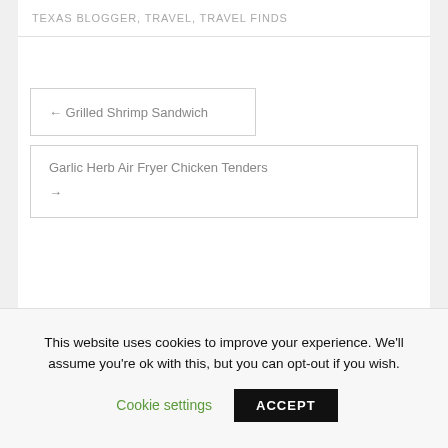TEXAS BLOGGER, TRAVEL, TRAVEL FINDS
← Grilled Shrimp Sandwich
Garlic Herb Air Fryer Chicken Tenders →
This website uses cookies to improve your experience. We'll assume you're ok with this, but you can opt-out if you wish.
Cookie settings
ACCEPT